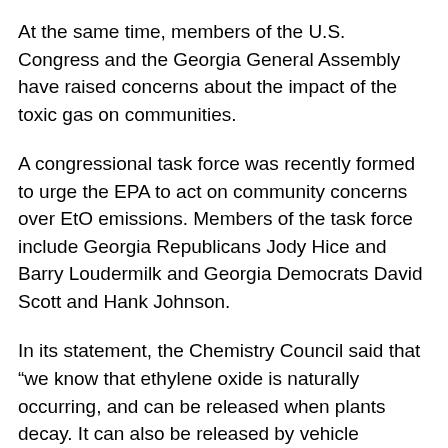At the same time, members of the U.S. Congress and the Georgia General Assembly have raised concerns about the impact of the toxic gas on communities.
A congressional task force was recently formed to urge the EPA to act on community concerns over EtO emissions. Members of the task force include Georgia Republicans Jody Hice and Barry Loudermilk and Georgia Democrats David Scott and Hank Johnson.
In its statement, the Chemistry Council said that “we know that ethylene oxide is naturally occurring, and can be released when plants decay. It can also be released by vehicle emissions and cooking oils, among other sources."
The trade group said it isn't currently conducting testing in other states.